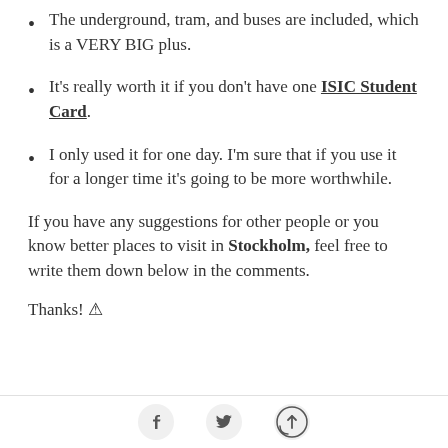The underground, tram, and buses are included, which is a VERY BIG plus.
It’s really worth it if you don’t have one ISIC Student Card.
I only used it for one day. I’m sure that if you use it for a longer time it’s going to be more worthwhile.
If you have any suggestions for other people or you know better places to visit in Stockholm, feel free to write them down below in the comments.
Thanks! 😊
Social share icons: Facebook, Twitter, scroll-to-top